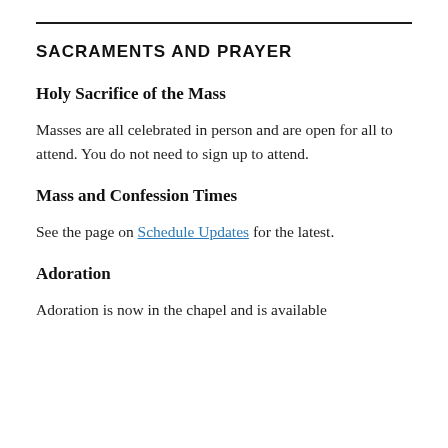SACRAMENTS AND PRAYER
Holy Sacrifice of the Mass
Masses are all celebrated in person and are open for all to attend. You do not need to sign up to attend.
Mass and Confession Times
See the page on Schedule Updates for the latest.
Adoration
Adoration is now in the chapel and is available